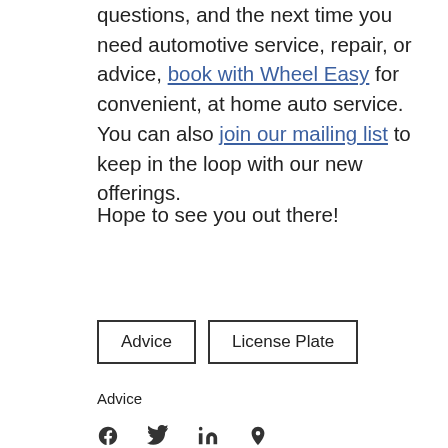questions, and the next time you need automotive service, repair, or advice, book with Wheel Easy for convenient, at home auto service. You can also join our mailing list to keep in the loop with our new offerings.
Hope to see you out there!
Advice   License Plate
Advice